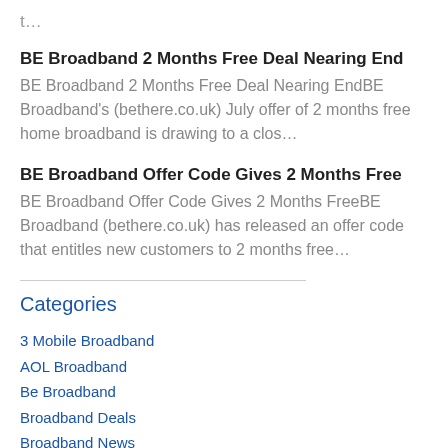t…
BE Broadband 2 Months Free Deal Nearing End
BE Broadband 2 Months Free Deal Nearing EndBE Broadband's (bethere.co.uk) July offer of 2 months free home broadband is drawing to a clos…
BE Broadband Offer Code Gives 2 Months Free
BE Broadband Offer Code Gives 2 Months FreeBE Broadband (bethere.co.uk) has released an offer code that entitles new customers to 2 months free…
Categories
3 Mobile Broadband
AOL Broadband
Be Broadband
Broadband Deals
Broadband News
Broadband Phone TV Bundles